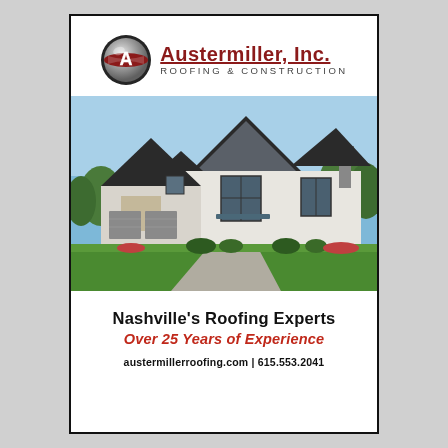[Figure (logo): Austermiller, Inc. Roofing & Construction logo with metallic sphere bearing a red letter A]
Austermiller, Inc. ROOFING & CONSTRUCTION
[Figure (photo): Exterior photo of a large modern luxury home with peaked roofs, gray shingles, white stucco, green lawn, and blue sky]
Nashville's Roofing Experts
Over 25 Years of Experience
austermillerroofing.com | 615.553.2041